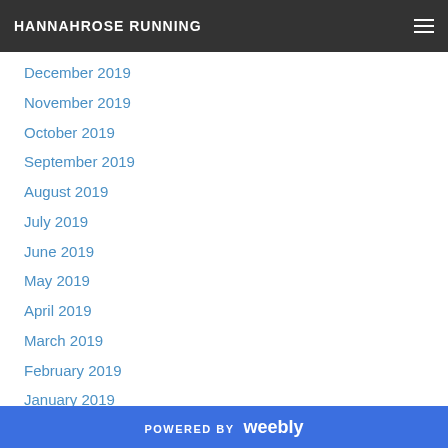HANNAHROSE RUNNING
December 2019
November 2019
October 2019
September 2019
August 2019
July 2019
June 2019
May 2019
April 2019
March 2019
February 2019
January 2019
December 2018
November 2018
October 2018
POWERED BY weebly